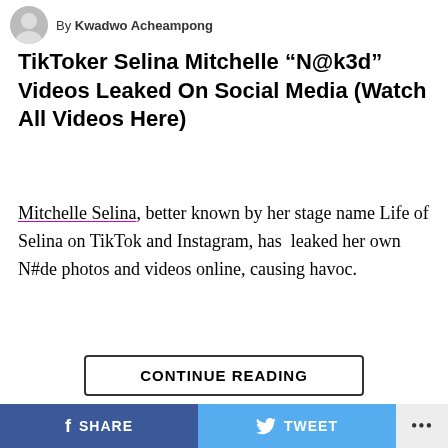By Kwadwo Acheampong
TikToker Selina Mitchelle “N@k3d” Videos Leaked On Social Media (Watch All Videos Here)
Mitchelle Selina, better known by her stage name Life of Selina on TikTok and Instagram, has  leaked her own N#de photos and videos online, causing havoc.
ADVERTISEMENT
CONTINUE READING
SHARE  TWEET  ...